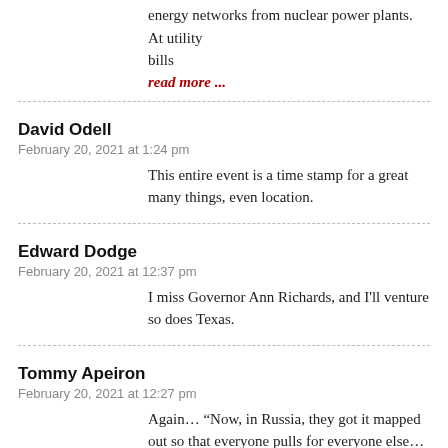energy networks from nuclear power plants. At utility bills
read more ...
David Odell
February 20, 2021 at 1:24 pm
This entire event is a time stamp for a great many things, even location.
Edward Dodge
February 20, 2021 at 12:37 pm
I miss Governor Ann Richards, and I'll venture so does Texas.
Tommy Apeiron
February 20, 2021 at 12:27 pm
Again… “Now, in Russia, they got it mapped out so that everyone pulls for everyone else… that's the theory, anyway. But what I know about is Texas, an' the...